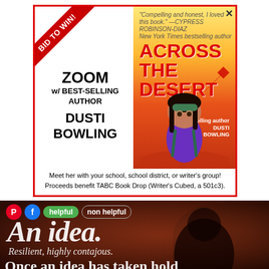[Figure (illustration): Book auction advertisement with red border. Left side shows 'BID TO WIN!' red ribbon diagonal banner, text 'ZOOM w/ BEST-SELLING AUTHOR DUSTI BOWLING'. Right side shows book cover for 'ACROSS THE DESERT' by Dusti Bowling with illustrated girl character on desert background. Bottom text: 'Meet her with your school, school district, or writer's group! Proceeds benefit TABC Book Drop (Writer's Cubed, a 501c3).']
[Figure (photo): Dark reddish-brown background image with a shadowy figure. Social buttons (Pinterest, Facebook, 'helpful', 'non helpful') overlaid at top. Large white text 'An idea.' with subtitle 'Resilient, highly contajous.' and partial text 'Once an idea has taken hold of the brain, it's almost']